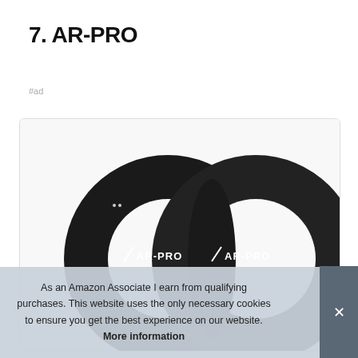7. AR-PRO
#ad
[Figure (photo): Two black AR-PRO bicycle/tire inner tubes side by side with AR-PRO logo visible on each tube, inside a bordered product card.]
As an Amazon Associate I earn from qualifying purchases. This website uses the only necessary cookies to ensure you get the best experience on our website. More information